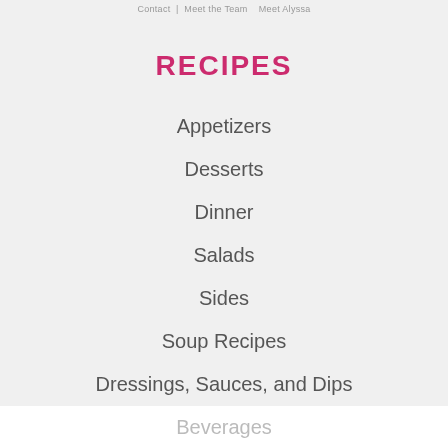Contact  |  Meet the Team   Meet Alyssa
RECIPES
Appetizers
Desserts
Dinner
Salads
Sides
Soup Recipes
Dressings, Sauces, and Dips
Breakfast
Beverages